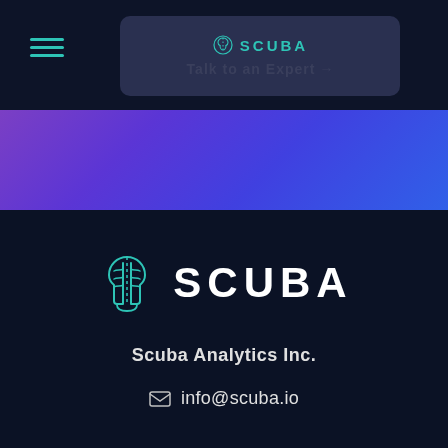[Figure (logo): Scuba Analytics navigation bar with hamburger menu icon and Talk to an Expert CTA button with Scuba logo]
[Figure (illustration): Purple to blue gradient horizontal band]
[Figure (logo): Scuba Analytics large logo with teal brain icon and white SCUBA text]
Scuba Analytics Inc.
info@scuba.io